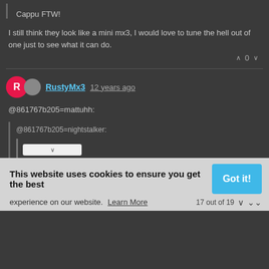Cappu FTW!
I still think they look like a mini mx3, I would love to tune the hell out of one just to see what it can do.
^ 0 v
RustyMx3 12 years ago
@861767b205=mattuhh:
@861767b205=nightstalker:
I still think they look like a mini mx3, I would love to tune the hell out of one just to see what it can do.
This website uses cookies to ensure you get the best experience on our website. Learn More
Got it!
17 out of 19